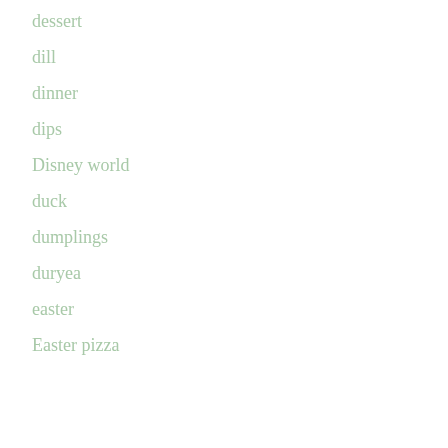dessert
dill
dinner
dips
Disney world
duck
dumplings
duryea
easter
Easter pizza